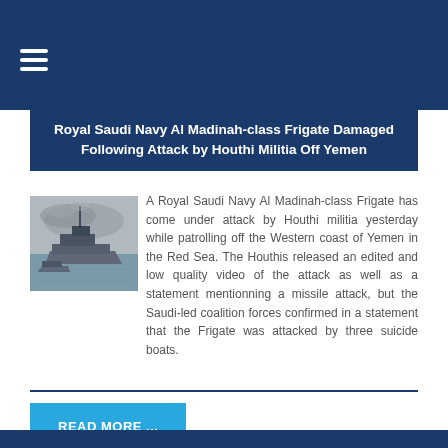≡
Royal Saudi Navy Al Madinah-class Frigate Damaged Following Attack by Houthi Militia Off Yemen
[Figure (photo): A naval frigate vessel at sea with smoke visible, appearing to be an Al Madinah-class frigate of the Royal Saudi Navy]
A Royal Saudi Navy Al Madinah-class Frigate has come under attack by Houthi militia yesterday while patrolling off the Western coast of Yemen in the Red Sea. The Houthis released an edited and low quality video of the attack as well as a statement mentionning a missile attack, but the Saudi-led coalition forces confirmed in a statement that the Frigate was attacked by three suicide boats.
READ MORE ...